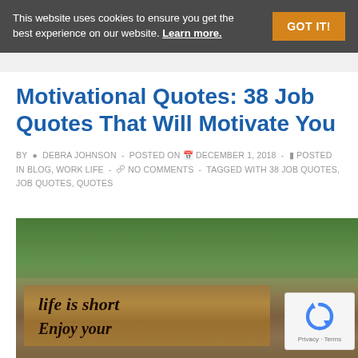This website uses cookies to ensure you get the best experience on our website. Learn more.  GOT IT!
Motivational Quotes: 38 Job Quotes That Will Motivate You
BY  DEBRA JOHNSON  -  POSTED ON  DECEMBER 1, 2018  -   POSTED IN BLOG, WORK LIFE  -   NO COMMENTS  -  TAGGED WITH 38 JOB QUOTES, JOB QUOTES, QUOTES
[Figure (photo): Photo of a wooden sign board with handwritten cursive text reading 'life is short' and 'Enjoy your' with green tropical foliage in the background]